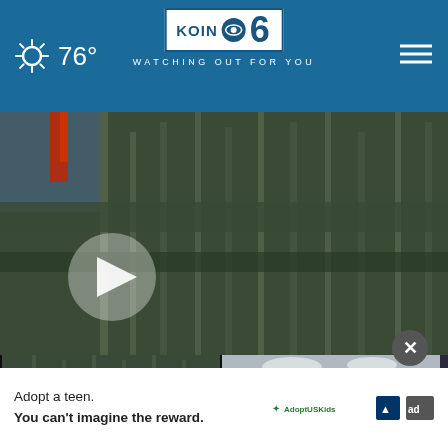76° KOIN 6 CBS WATCHING OUT FOR YOU
[Figure (screenshot): Hero video thumbnail showing a bridge structure with play button overlay]
[Figure (screenshot): Video thumbnail: Oregon pot revenue allocations story, 2 hours ago]
[Figure (screenshot): Video thumbnail: Labor Day travel nears pre-pandemic levels, 2 hours ago]
[Figure (screenshot): Partial video thumbnail with text 'Woma... be kid...']
Oregon pot revenue allocations...
2 hours ago
Labor Day travel nears pre-pandemic levels
2 hours ago
Woma... be kid...
Mor...
Adopt a teen. You can't imagine the reward.